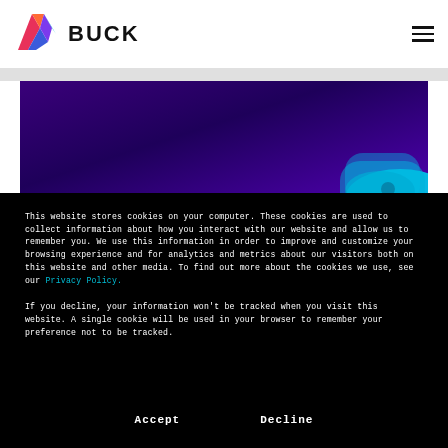[Figure (logo): BUCK logo with colorful geometric arrow/chevron mark and bold black BUCK wordmark]
[Figure (photo): Dark purple/indigo gradient hero image with a cyan/blue rounded shape in the lower right corner]
This website stores cookies on your computer. These cookies are used to collect information about how you interact with our website and allow us to remember you. We use this information in order to improve and customize your browsing experience and for analytics and metrics about our visitors both on this website and other media. To find out more about the cookies we use, see our Privacy Policy.
If you decline, your information won't be tracked when you visit this website. A single cookie will be used in your browser to remember your preference not to be tracked.
Accept    Decline